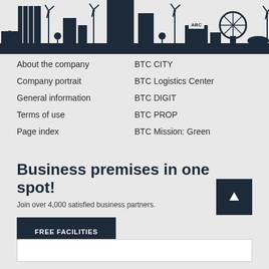[Figure (illustration): Dark navy blue cityscape silhouette showing buildings, wind turbines, trees, a Ferris wheel, and an ABC billboard against a light grey background]
About the company
Company portrait
General information
Terms of use
Page index
BTC CITY
BTC Logistics Center
BTC DIGIT
BTC PROP
BTC Mission: Green
Business premises in one spot!
Join over 4,000 satisfied business partners.
FREE FACILITIES
[Figure (other): Dark navy up arrow button]
[Figure (other): White search bar at bottom]